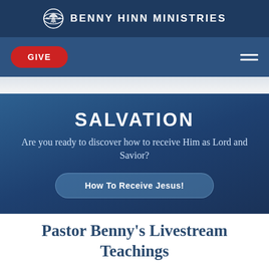BENNY HINN MINISTRIES
GIVE
SALVATION
Are you ready to discover how to receive Him as Lord and Savior?
How To Receive Jesus!
Pastor Benny's Livestream Teachings